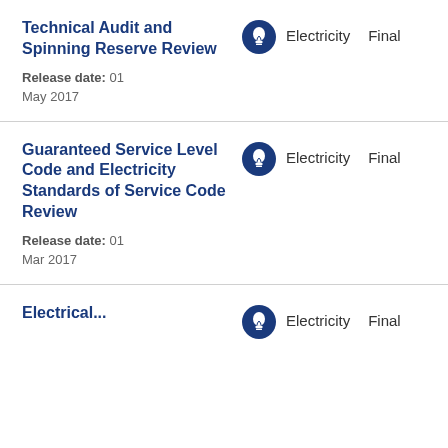Technical Audit and Spinning Reserve Review
Release date: 01 May 2017
Guaranteed Service Level Code and Electricity Standards of Service Code Review
Release date: 01 Mar 2017
Financial...